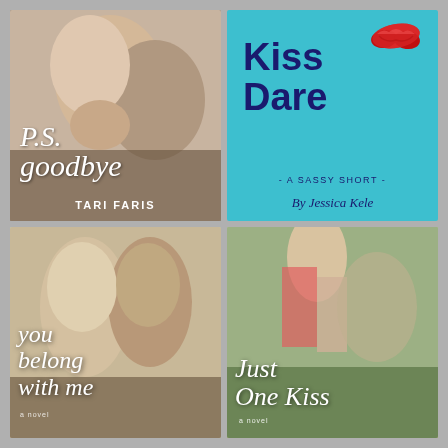[Figure (illustration): Book cover: P.S. Goodbye by Tari Faris. Photo of couple about to kiss, close-up. Script title 'P.S. goodbye' in white italic text, author name 'TARI FARIS' in white sans-serif at bottom.]
[Figure (illustration): Book cover: Kiss Dare - A Sassy Short by Jessica Kele. Teal/cyan background with red lipstick kiss mark in top right, bold navy title 'Kiss Dare', subtitle '- A SASSY SHORT -', author 'By Jessica Kele' in italic.]
[Figure (illustration): Book cover: You Belong With Me. Photo of couple with foreheads nearly touching. Script white text 'you belong with me' overlaid at bottom left. Small 'a novel' text.]
[Figure (illustration): Book cover: Just One Kiss - a novel. Photo of couple embracing outdoors with greenery. Script white text 'Just One Kiss' overlaid at bottom. Small 'a novel' text.]